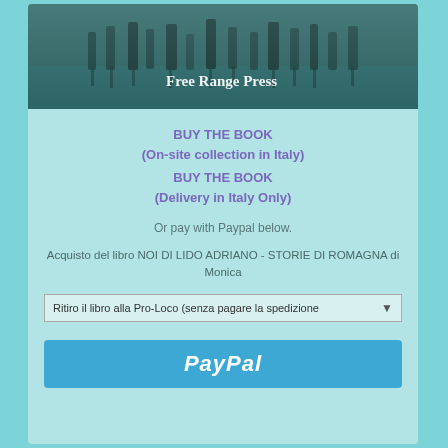[Figure (photo): Book cover image showing people standing in shallow water, teal/dark teal tones, with text 'Free Range Press' in white serif font overlaid at the bottom.]
BUY THE BOOK
(On-site collection in Italy)
BUY THE BOOK
(Delivery in Italy Only)
Or pay with Paypal below.
Acquisto del libro NOI DI LIDO ADRIANO - STORIE DI ROMAGNA di Monica
Ritiro il libro alla Pro-Loco (senza pagare la spedizione ▾
[Figure (logo): PayPal button — blue rectangle with white italic bold PayPal text]